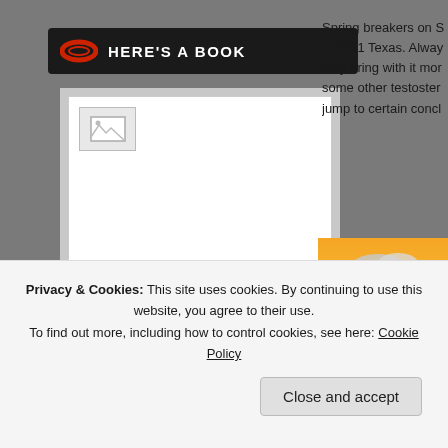HERE'S A BOOK
[Figure (illustration): Book preview card with broken image placeholder, author name 'By J. V. Brennan', blurb badge, and 'Book Preview' link]
Spring breakers on S... in 2021 Texas. Always may bring with it mor some other testoster jump to certain concl
[Figure (illustration): Western scene illustration: desert landscape with orange sky, clouds, adobe ruins, and a wagon with Texas star emblem]
Privacy & Cookies: This site uses cookies. By continuing to use this website, you agree to their use.
To find out more, including how to control cookies, see here: Cookie Policy
Close and accept